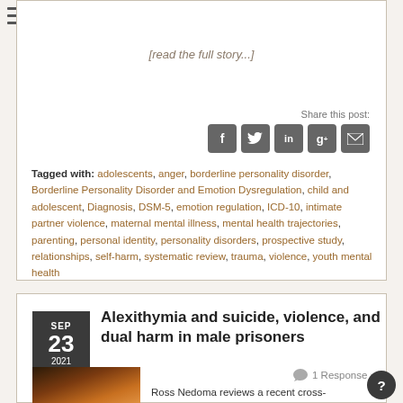[read the full story...]
Share this post:
Tagged with: adolescents, anger, borderline personality disorder, Borderline Personality Disorder and Emotion Dysregulation, child and adolescent, Diagnosis, DSM-5, emotion regulation, ICD-10, intimate partner violence, maternal mental illness, mental health trajectories, parenting, personal identity, personality disorders, prospective study, relationships, self-harm, systematic review, trauma, violence, youth mental health
SEP 23 2021
Alexithymia and suicide, violence, and dual harm in male prisoners
1 Response »
Ross Nedoma reviews a recent cross-sectional study examining the links between alexithymia and suicide,